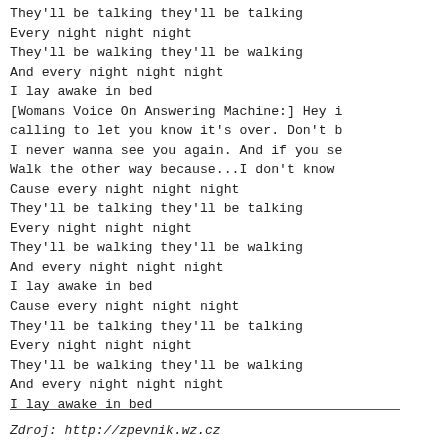They'll be talking they'll be talking
Every night night night
They'll be walking they'll be walking
And every night night night
I lay awake in bed
[Womans Voice On Answering Machine:] Hey i
calling to let you know it's over. Don't b
I never wanna see you again. And if you se
Walk the other way because...I don't know
Cause every night night night
They'll be talking they'll be talking
Every night night night
They'll be walking they'll be walking
And every night night night
I lay awake in bed
Cause every night night night
They'll be talking they'll be talking
Every night night night
They'll be walking they'll be walking
And every night night night
I lay awake in bed
Zdroj: http://zpevnik.wz.cz